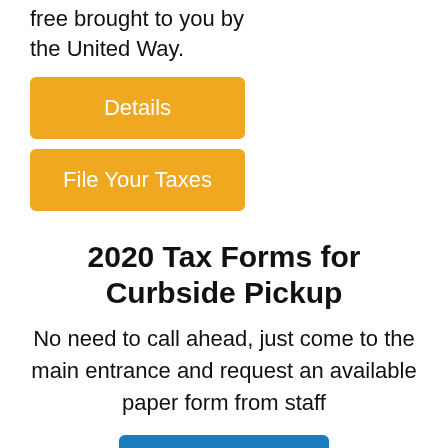free brought to you by the United Way.
Details
File Your Taxes
2020 Tax Forms for Curbside Pickup
No need to call ahead, just come to the main entrance and request an available paper form from staff